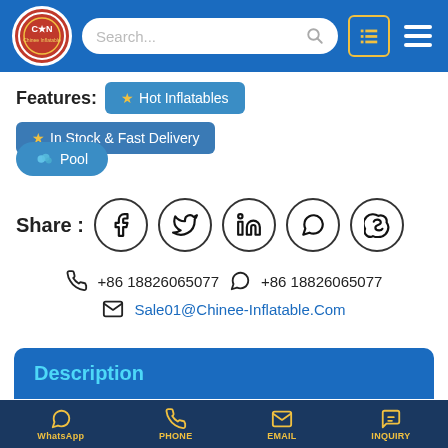Chinee Inflatable - Search bar with logo, list icon, and menu
Features: ★Hot Inflatables   ★In Stock & Fast Delivery   🔵Pool
Share : [Facebook] [Twitter] [LinkedIn] [WhatsApp] [Skype]
📞 +86 18826065077   💬 +86 18826065077   ✉ Sale01@Chinee-Inflatable.Com
Description
WhatsApp   PHONE   EMAIL   INQUIRY